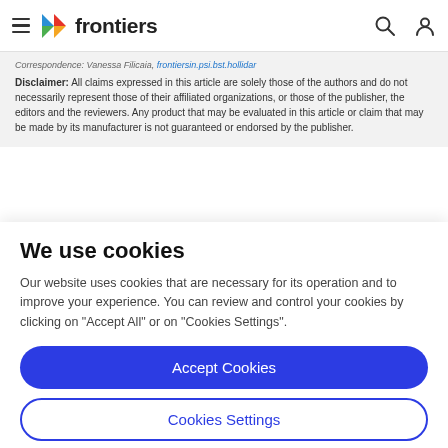frontiers
Correspondence: Vanessa Filicaia, frontiersin.psi.bst.hollidar
Disclaimer: All claims expressed in this article are solely those of the authors and do not necessarily represent those of their affiliated organizations, or those of the publisher, the editors and the reviewers. Any product that may be evaluated in this article or claim that may be made by its manufacturer is not guaranteed or endorsed by the publisher.
We use cookies
Our website uses cookies that are necessary for its operation and to improve your experience. You can review and control your cookies by clicking on "Accept All" or on "Cookies Settings".
Accept Cookies
Cookies Settings